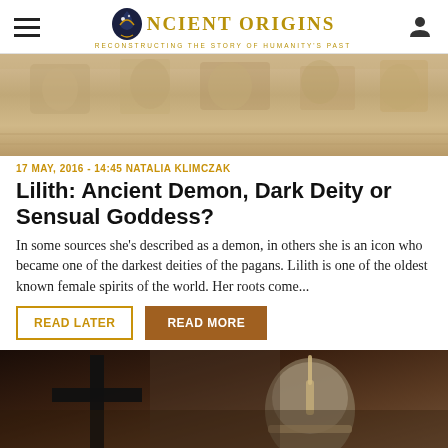Ancient Origins - Reconstructing the story of humanity's past
[Figure (photo): Stone relief carving with ancient figures, light beige/tan colored stone]
17 MAY, 2016 - 14:45 NATALIA KLIMCZAK
Lilith: Ancient Demon, Dark Deity or Sensual Goddess?
In some sources she's described as a demon, in others she is an icon who became one of the darkest deities of the pagans. Lilith is one of the oldest known female spirits of the world. Her roots come...
READ LATER   READ MORE
[Figure (photo): Dark photo showing a cross in the foreground and a helmeted medieval warrior/knight statue in the background]